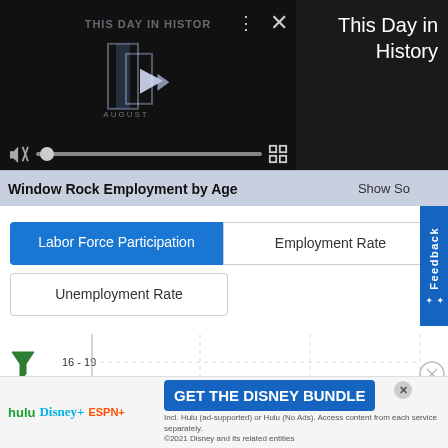[Figure (screenshot): Video player showing 'This Day in History' with playback controls, mute button, progress bar, and fullscreen icon on dark background]
This Day in History
Window Rock Employment by Age
Show So
Labor Force Participation
Employment Rate
Unemployment Rate
[Figure (other): Partial chart showing age group labels 16-19 and 20-24 on y-axis with gridlines, filter icon, and close button]
[Figure (screenshot): Advertisement banner: GET THE DISNEY BUNDLE featuring Hulu, Disney+, ESPN+ logos with small print about terms]